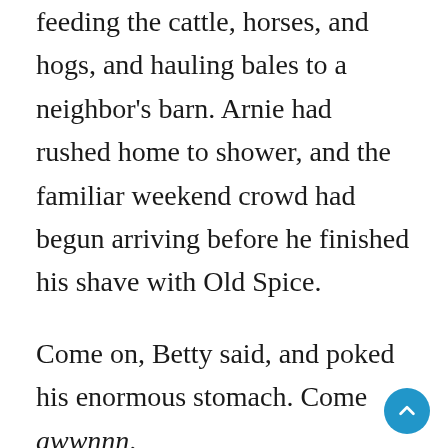feeding the cattle, horses, and hogs, and hauling bales to a neighbor's barn. Arnie had rushed home to shower, and the familiar weekend crowd had begun arriving before he finished his shave with Old Spice.
Come on, Betty said, and poked his enormous stomach. Come awwnnn.
Family and friends, chewing through mouthfuls of deer salami, watched Arnie from across the kitchen table.